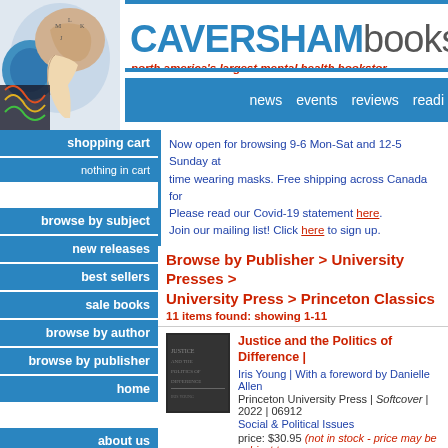CAVERSHAMbooks
north america's largest mental health bookstore
news  events  reviews  readi
shopping cart
nothing in cart
Now open for browsing 9-6 Mon-Sat and 12-5 Sunday at time wearing masks. Free shipping across Canada for Please read our Covid-19 statement here. Join our mailing list! Click here to sign up.
Browse by Publisher > University Presses > University Press > Princeton Classics
11 items found: showing 1-11
browse by subject
new releases
best sellers
sale books
browse by author
browse by publisher
home
about us
Justice and the Politics of Difference | Iris Young | With a foreword by Danielle Allen Princeton University Press | Softcover | 2022 | 06912 Social & Political Issues price: $30.95 (not in stock - price may be subject to
The Open Society and Its Enemies | Pr Karl Popper | With a new foreword by George So Princeton University Press | Softcover | 2020 | 06912 Philosophy | Social & Political Issues price: $39.95 (not in stock - price may be subject to